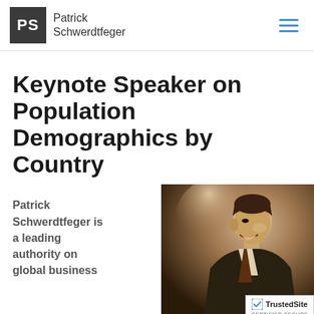PS Patrick Schwerdtfeger
Keynote Speaker on Population Demographics by Country
Patrick Schwerdtfeger is a leading authority on global business
[Figure (photo): Black and white / sepia photo of Patrick Schwerdtfeger speaking, laughing, seen in profile/three-quarter view, wearing a suit]
[Figure (logo): TrustedSite CERTIFIED SECURE badge]